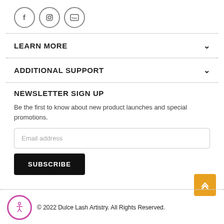[Figure (other): Social media icons: Facebook, Instagram, YouTube in circular outlines]
LEARN MORE
ADDITIONAL SUPPORT
NEWSLETTER SIGN UP
Be the first to know about new product launches and special promotions.
Email address
SUBSCRIBE
© 2022 Dulce Lash Artistry. All Rights Reserved.